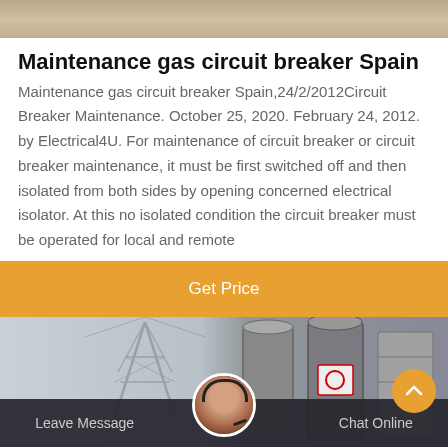[Figure (photo): Top portion of an industrial or outdoor scene, showing a blurred textured background (likely earth or material surface).]
Maintenance gas circuit breaker Spain
Maintenance gas circuit breaker Spain,24/2/2012Circuit Breaker Maintenance. October 25, 2020. February 24, 2012. by Electrical4U. For maintenance of circuit breaker or circuit breaker maintenance, it must be first switched off and then isolated from both sides by opening concerned electrical isolator. At this no isolated condition the circuit breaker must be operated for local and remote
Get Price
[Figure (photo): Industrial scene showing electrical infrastructure including towers and cylindrical equipment. Bottom bar with 'Leave Message' and 'Chat Online' buttons, and a customer service avatar in the center.]